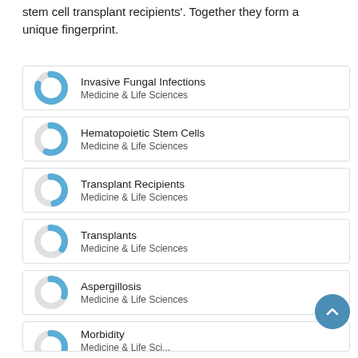stem cell transplant recipients'. Together they form a unique fingerprint.
[Figure (donut-chart): Donut chart icon for Invasive Fungal Infections, approximately 80% filled in blue]
Invasive Fungal Infections
Medicine & Life Sciences
[Figure (donut-chart): Donut chart icon for Hematopoietic Stem Cells, approximately 55% filled in blue]
Hematopoietic Stem Cells
Medicine & Life Sciences
[Figure (donut-chart): Donut chart icon for Transplant Recipients, approximately 45% filled in blue]
Transplant Recipients
Medicine & Life Sciences
[Figure (donut-chart): Donut chart icon for Transplants, approximately 35% filled in blue]
Transplants
Medicine & Life Sciences
[Figure (donut-chart): Donut chart icon for Aspergillosis, approximately 30% filled in blue]
Aspergillosis
Medicine & Life Sciences
[Figure (donut-chart): Donut chart icon for Morbidity, approximately 40% filled in blue]
Morbidity
Medicine & Life Sciences